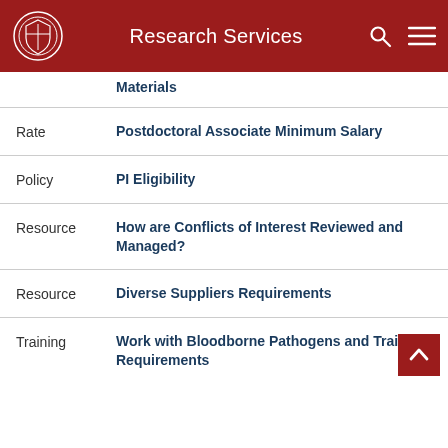Research Services
Materials
Rate	Postdoctoral Associate Minimum Salary
Policy	PI Eligibility
Resource	How are Conflicts of Interest Reviewed and Managed?
Resource	Diverse Suppliers Requirements
Training	Work with Bloodborne Pathogens and Training Requirements